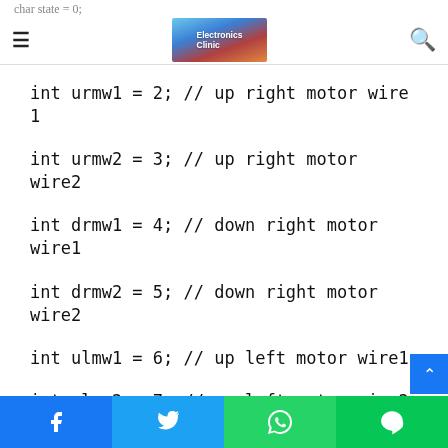Electronics Clinic
char state = 0;
Then I defined p...
int urmw1 = 2; // up right motor wire 1
int urmw2 = 3; // up right motor wire2
int drmw1 = 4; // down right motor wire1
int drmw2 = 5; // down right motor wire2
int ulmw1 = 6; // up left motor wire1
int ulmw2 = 7; // up left motor wire2
Facebook Twitter WhatsApp Line